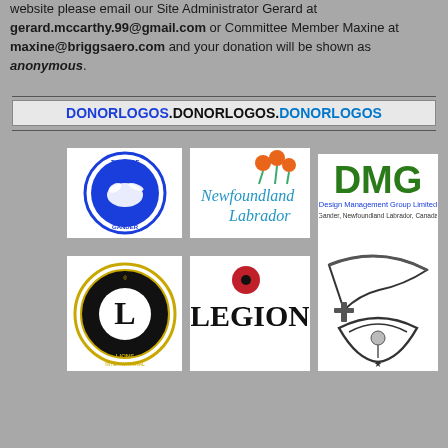website please email our Site Administrator Gerard at gerard.mccarthy.99@gmail.com or Committee Member Maxine at maxine@briggsaero.com and your donation will be shown as anonymous.
DONORLOGOS.DONORLOGOS.DONORLOGOS
[Figure (logo): Town of Gander circular logo with goose silhouette]
[Figure (logo): Newfoundland Labrador provincial brand logo with poppy flowers]
[Figure (logo): DMG Design Management Group Limited logo]
[Figure (logo): Lions International circular logo]
[Figure (logo): Legion logo with poppy]
[Figure (logo): Shriners International scimitar and crescent logo]